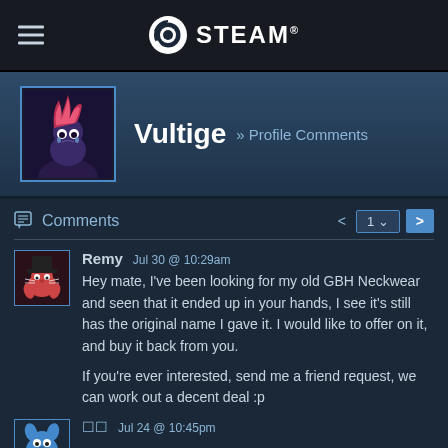STEAM (navigation bar with hamburger menu and Steam logo)
Vultige » Profile Comments
Comments  1  >
Remy  Jul 30 @ 10:29am
Hey mate, I've been looking for my old GBH Neckwear and seen that it ended up in your hands, I see it's still has the original name I gave it. I would like to offer on it, and buy it back from you.

If you're ever interested, send me a friend request, we can work out a decent deal :p
Jul 24 @ 10:45pm